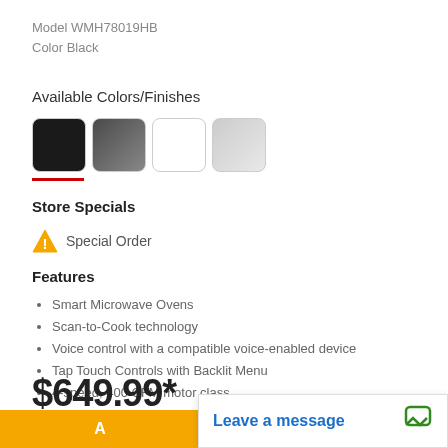Model WMH78019HB
Color Black
Available Colors/Finishes
[Figure (other): Four color swatches: black (selected, with red underline), dark gray, white, light gray]
Store Specials
⚠ Special Order
Features
Smart Microwave Ovens
Scan-to-Cook technology
Voice control with a compatible voice-enabled device
Tap Touch Controls with Backlit Menu
4-speed, 400 CFM motor class
$649.99*
*See price in cart
Leave a message